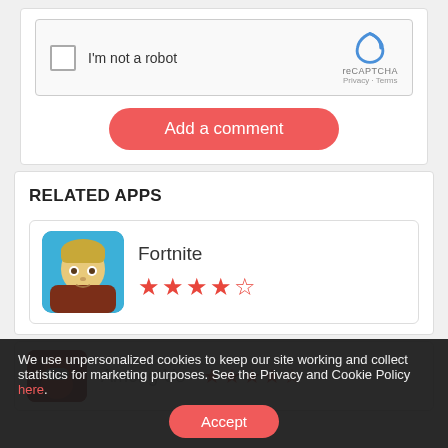[Figure (screenshot): reCAPTCHA widget with checkbox and logo]
Add a comment
RELATED APPS
[Figure (screenshot): Fortnite app card with icon and 4.5 star rating]
Fortnite
We use unpersonalized cookies to keep our site working and collect statistics for marketing purposes. See the Privacy and Cookie Policy here.
Accept